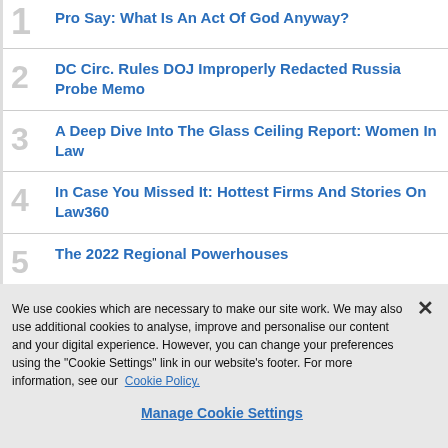1. Pro Say: What Is An Act Of God Anyway? (partial)
2. DC Circ. Rules DOJ Improperly Redacted Russia Probe Memo
3. A Deep Dive Into The Glass Ceiling Report: Women In Law
4. In Case You Missed It: Hottest Firms And Stories On Law360
5. The 2022 Regional Powerhouses
6. Tesla's Near Silence On Legal Chief Stirs Disclosure Concerns
We use cookies which are necessary to make our site work. We may also use additional cookies to analyse, improve and personalise our content and your digital experience. However, you can change your preferences using the "Cookie Settings" link in our website's footer. For more information, see our Cookie Policy.
Manage Cookie Settings